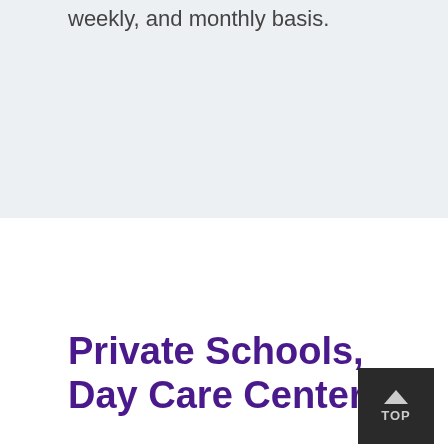weekly, and monthly basis.
Private Schools, Day Care Centers,